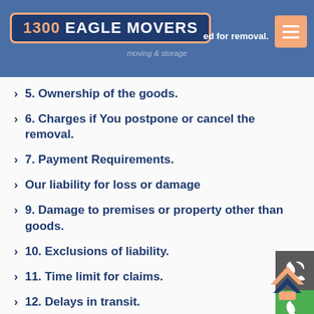1300 EAGLE MOVERS
5. Ownership of the goods.
6. Charges if You postpone or cancel the removal.
7. Payment Requirements.
Our liability for loss or damage
9. Damage to premises or property other than goods.
10. Exclusions of liability.
11. Time limit for claims.
12. Delays in transit.
13. Our Right to Hold the Goods (lien).
14. Our right to sub-contract the work